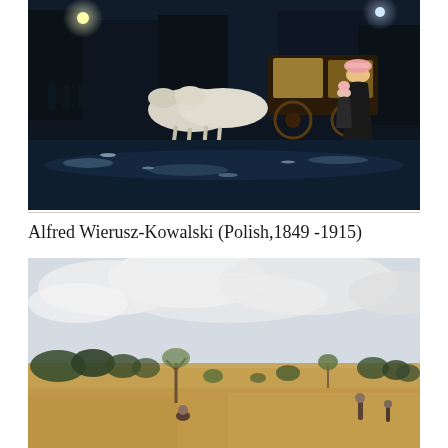[Figure (photo): Oil painting of a rainy night street scene with horse-drawn carriage, reflective wet cobblestones, gas lamps, and elegantly dressed women in Victorian clothing.]
Alfred Wierusz-Kowalski (Polish,1849 -1915)
[Figure (photo): Oil painting of a sunny open landscape with scattered trees, dry sandy ground, cloudy sky, and small figures of people in the distance.]